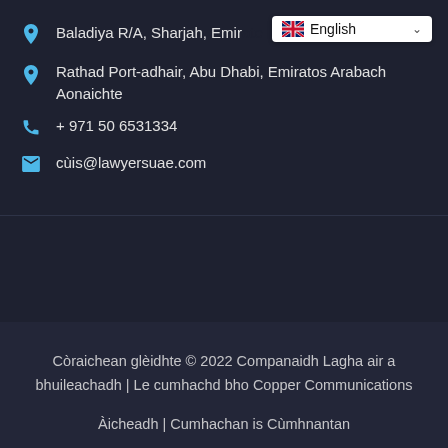[Figure (screenshot): Language selector dropdown showing English with UK flag]
Baladiya R/A, Sharjah, Emiratos Arabach Aonaichte
Rathad Port-adhair, Abu Dhabi, Emiratos Arabach Aonaichte
+ 971 50 6531334
cùis@lawyersuae.com
Còraichean glèidhte © 2022 Companaidh Lagha air a bhuileachadh | Le cumhachd bho Copper Communications
Àicheadh | Cumhachan is Cùmhnantan